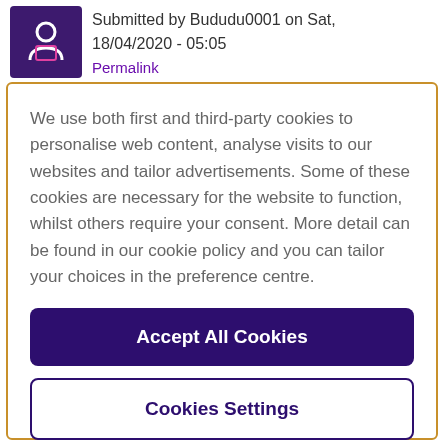Submitted by Bududu0001 on Sat, 18/04/2020 - 05:05
Permalink
We use both first and third-party cookies to personalise web content, analyse visits to our websites and tailor advertisements. Some of these cookies are necessary for the website to function, whilst others require your consent. More detail can be found in our cookie policy and you can tailor your choices in the preference centre.
Accept All Cookies
Cookies Settings